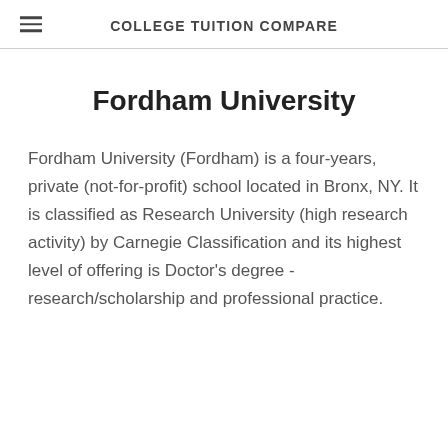COLLEGE TUITION COMPARE
Fordham University
Fordham University (Fordham) is a four-years, private (not-for-profit) school located in Bronx, NY. It is classified as Research University (high research activity) by Carnegie Classification and its highest level of offering is Doctor's degree - research/scholarship and professional practice.